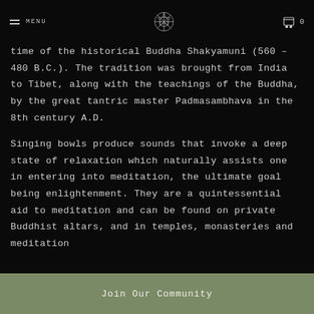MENU | [logo] | 0
time of the historical Buddha Shakyamuni (560 – 480 B.C.). The tradition was brought from India to Tibet, along with the teachings of the Buddha, by the great tantric master Padmasambhava in the 8th century A.D.
Singing bowls produce sounds that invoke a deep state of relaxation which naturally assists one in entering into meditation, the ultimate goal being enlightenment. They are a quintessential aid to meditation and can be found on private Buddhist altars, and in temples, monasteries and meditation
Join Our Community